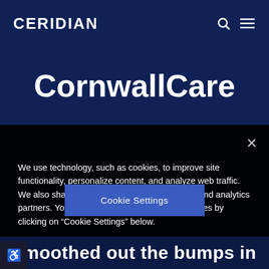CERIDIAN
CornwallCare
We use technology, such as cookies, to improve site functionality, personalize content, and analyze web traffic. We also share information with our advertising and analytics partners. You can adjust your tracking preferences by clicking on “Cookie Settings” below.
Cookie Settings
smoothed out the bumps in